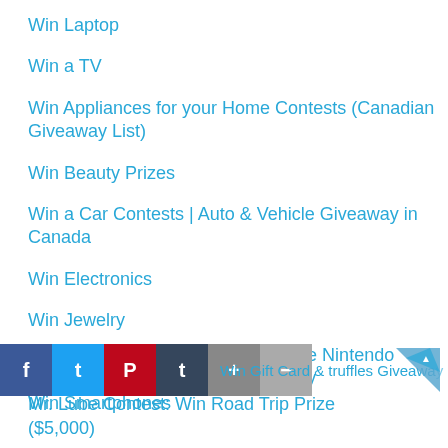Win Laptop
Win a TV
Win Appliances for your Home Contests (Canadian Giveaway List)
Win Beauty Prizes
Win a Car Contests | Auto & Vehicle Giveaway in Canada
Win Electronics
Win Jewelry
Pet Giveaways
Win Smartphones
Nintendo Switch Contests: Win Free Nintendo Switch Console & Games Giveaway
Win Gift Card & truffles Giveaway
Mr. Lube Contest: Win Road Trip Prize ($5,000)